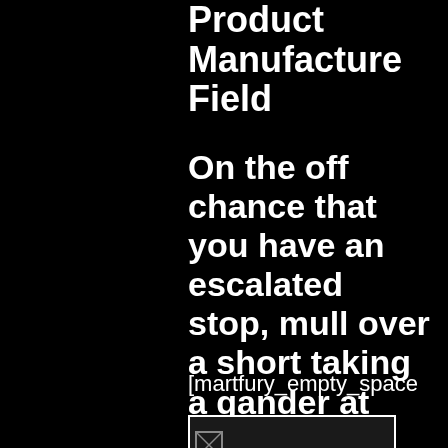Product Manufacture Field
On the off chance that you have an escalated stop, mull over a short taking a gander at outing. This especially is shrewd in urban areas with brilliant open transportation decisions.
[martfury_empty_space height="50"]
[Figure (other): Small image placeholder with broken image icon]